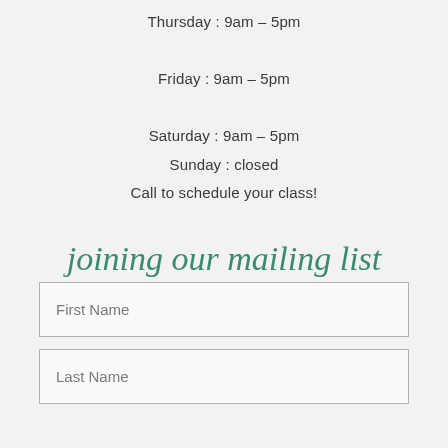Thursday : 9am – 5pm
Friday : 9am – 5pm
Saturday : 9am – 5pm
Sunday : closed
Call to schedule your class!
joining our mailing list
First Name
Last Name